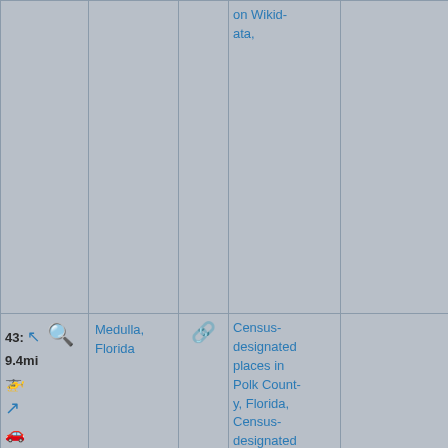|  |  |  |  |  |
| --- | --- | --- | --- | --- |
|  |  |  | on Wikid-ata, |  |
| 43: 9.4mi [icons] | Medulla, Florida | [link icon] | Census-designated places in Polk County, Florida, Census-designated places in Florida, Hidden categories:, Coordinates on Wikid- |  |